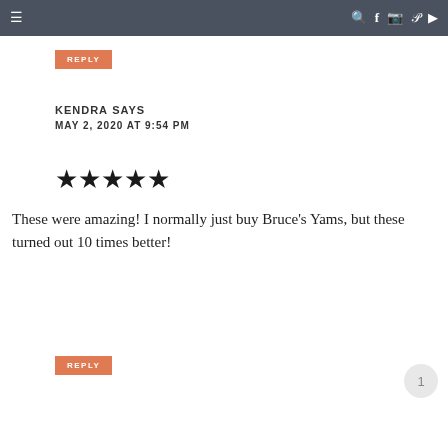≡  🔍 f 📷 p ▶
REPLY
KENDRA SAYS
MAY 2, 2020 AT 9:54 PM
[Figure (other): 5 filled black stars rating]
These were amazing! I normally just buy Bruce's Yams, but these turned out 10 times better!
REPLY